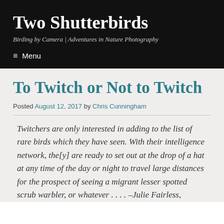Two Shutterbirds
Birding by Camera | Adventures in Nature Photography
≡ Menu
To Twitch or Not to Twitch
Posted August 12, 2017 by Chris Cunningham
Twitchers are only interested in adding to the list of rare birds which they have seen. With their intelligence network, the[y] are ready to set out at the drop of a hat at any time of the day or night to travel large distances for the prospect of seeing a migrant lesser spotted scrub warbler, or whatever . . . . –Julie Fairless,